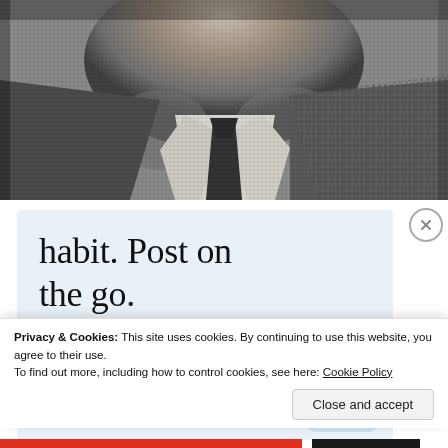[Figure (photo): Black and white newspaper-style halftone photograph showing a man from the neck down, wearing a suit jacket, white shirt, and dark tie. Head/face is cropped at top.]
habit. Post on the go.
GET THE APP
[Figure (logo): WordPress app icon: circular W logo in blue on a light blue rounded rectangle background]
Privacy & Cookies: This site uses cookies. By continuing to use this website, you agree to their use.
To find out more, including how to control cookies, see here: Cookie Policy
Close and accept